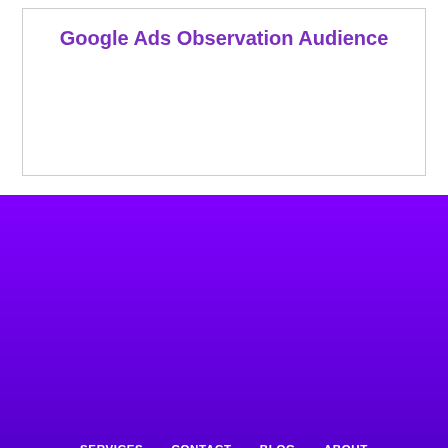Google Ads Observation Audience
SERVICES   CONTACT   BLOG   ABOUT
Sonoma | Santa Barbara | New York City | Calabasas | Berkeley | Albuquerque | Portland | Layton
[Figure (illustration): Three social media icon circles (LinkedIn, Instagram, Facebook) with salmon/peach background color]